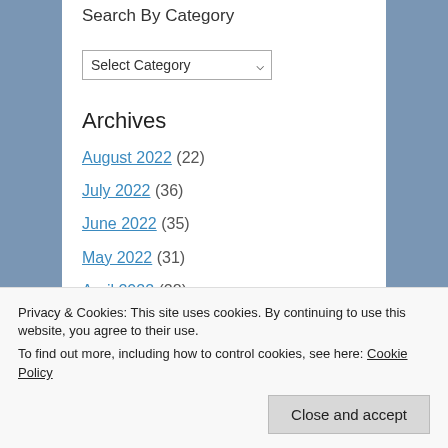Search By Category
Select Category
Archives
August 2022 (22)
July 2022 (36)
June 2022 (35)
May 2022 (31)
April 2022 (28)
March 2022 (31)
February 2022 (24)
Privacy & Cookies: This site uses cookies. By continuing to use this website, you agree to their use.
To find out more, including how to control cookies, see here: Cookie Policy
Close and accept